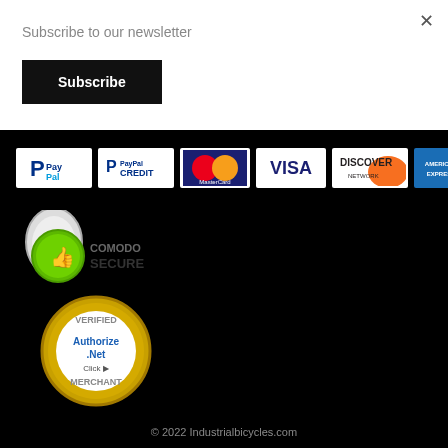×
Subscribe to our newsletter
Subscribe
[Figure (logo): Payment method logos: PayPal, PayPal Credit, MasterCard, VISA, Discover Network, American Express]
[Figure (logo): Comodo Secure badge with padlock and thumbs up icon]
[Figure (logo): Authorize.Net Verified Merchant click badge with gold seal]
© 2022 Industrialbicycles.com